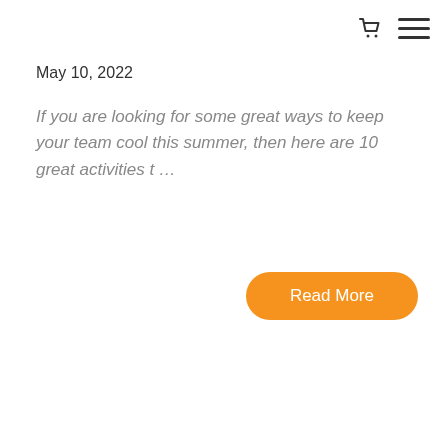[cart icon] [hamburger menu icon]
May 10, 2022
If you are looking for some great ways to keep your team cool this summer, then here are 10 great activities t …
Read More